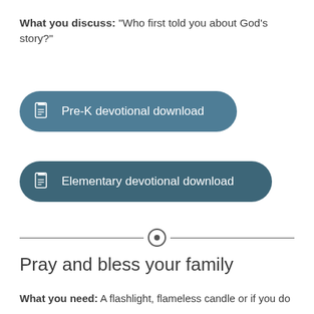What you discuss: "Who first told you about God's story?"
[Figure (other): Button: Pre-K devotional download with document icon, teal rounded rectangle]
[Figure (other): Button: Elementary devotional download with document icon, darker teal rounded rectangle]
[Figure (other): Horizontal divider with centered circle target icon]
Pray and bless your family
What you need: A flashlight, flameless candle or if you do